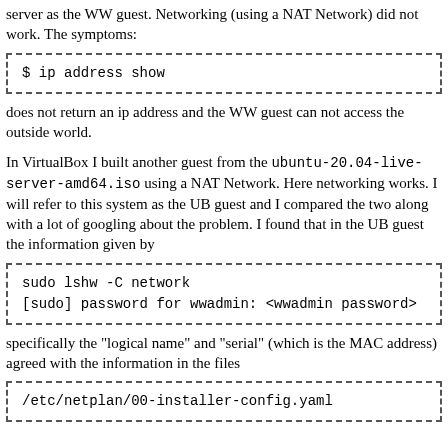server as the WW guest. Networking (using a NAT Network) did not work. The symptoms:
[Figure (screenshot): Code block with dashed border: $ ip address show]
does not return an ip address and the WW guest can not access the outside world.
In VirtualBox I built another guest from the ubuntu-20.04-live-server-amd64.iso using a NAT Network. Here networking works. I will refer to this system as the UB guest and I compared the two along with a lot of googling about the problem. I found that in the UB guest the information given by
[Figure (screenshot): Code block with dashed border: sudo lshw -C network
[sudo] password for wwadmin: <wwadmin password>]
specifically the "logical name" and "serial" (which is the MAC address) agreed with the information in the files
[Figure (screenshot): Code block with dashed border: /etc/netplan/00-installer-config.yaml]